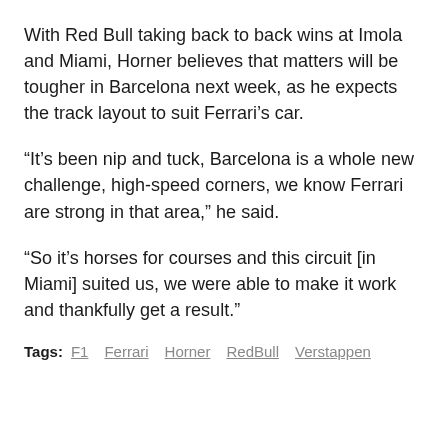With Red Bull taking back to back wins at Imola and Miami, Horner believes that matters will be tougher in Barcelona next week, as he expects the track layout to suit Ferrari’s car.
“It’s been nip and tuck, Barcelona is a whole new challenge, high-speed corners, we know Ferrari are strong in that area,” he said.
“So it’s horses for courses and this circuit [in Miami] suited us, we were able to make it work and thankfully get a result.”
Tags: F1  Ferrari  Horner  RedBull  Verstappen